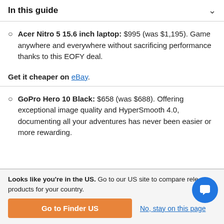In this guide
Acer Nitro 5 15.6 inch laptop: $995 (was $1,195). Game anywhere and everywhere without sacrificing performance thanks to this EOFY deal.
Get it cheaper on eBay.
GoPro Hero 10 Black: $658 (was $688). Offering exceptional image quality and HyperSmooth 4.0, documenting all your adventures has never been easier or more rewarding.
Looks like you're in the US. Go to our US site to compare rele products for your country.
Go to Finder US
No, stay on this page